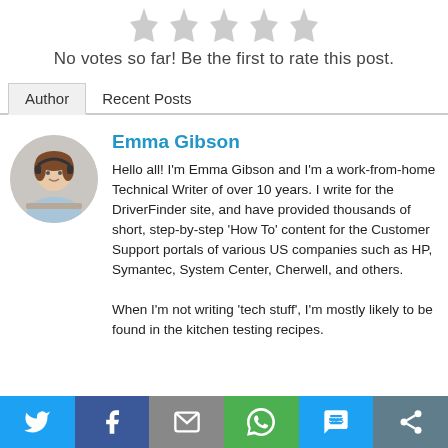[Figure (illustration): Five gray bookmark/ribbon star shapes for rating, no votes filled.]
No votes so far! Be the first to rate this post.
Author | Recent Posts (tabs)
[Figure (photo): Circular profile photo of Emma Gibson, a woman with brown hair wearing a headset, working at a desk.]
Emma Gibson
Hello all! I'm Emma Gibson and I'm a work-from-home Technical Writer of over 10 years. I write for the DriverFinder site, and have provided thousands of short, step-by-step 'How To' content for the Customer Support portals of various US companies such as HP, Symantec, System Center, Cherwell, and others.
When I'm not writing 'tech stuff', I'm mostly likely to be found in the kitchen testing recipes.
Social share bar: Twitter, Facebook, Email, WhatsApp, SMS, More